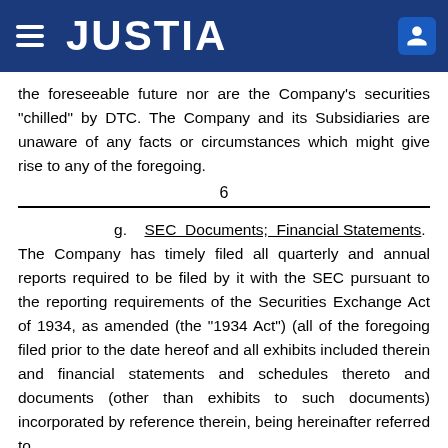JUSTIA
the foreseeable future nor are the Company's securities "chilled" by DTC.  The Company and its Subsidiaries are unaware of any facts or circumstances which might give rise to any of the foregoing.
6
g. SEC Documents; Financial Statements.  The Company has timely filed all quarterly and annual reports required to be filed by it with the SEC pursuant to the reporting requirements of the Securities Exchange Act of 1934, as amended (the "1934 Act") (all of the foregoing filed prior to the date hereof and all exhibits included therein and financial statements and schedules thereto and documents (other than exhibits to such documents) incorporated by reference therein, being hereinafter referred to